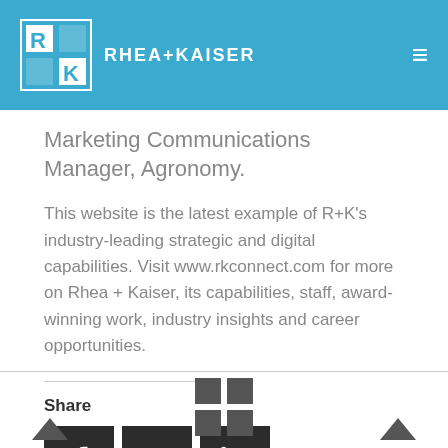RHEA+KAISER
Marketing Communications Manager, Agronomy.
This website is the latest example of R+K's industry-leading strategic and digital capabilities. Visit www.rkconnect.com for more on Rhea + Kaiser, its capabilities, staff, award-winning work, industry insights and career opportunities.
[Figure (other): Share section with Facebook, Twitter, and LinkedIn icon buttons]
Footer navigation with arrows and grid icons